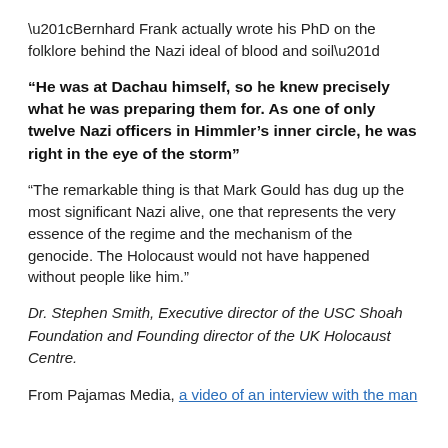“Bernhard Frank actually wrote his PhD on the folklore behind the Nazi ideal of blood and soil”
“He was at Dachau himself, so he knew precisely what he was preparing them for. As one of only twelve Nazi officers in Himmler’s inner circle, he was right in the eye of the storm”
“The remarkable thing is that Mark Gould has dug up the most significant Nazi alive, one that represents the very essence of the regime and the mechanism of the genocide. The Holocaust would not have happened without people like him.”
Dr. Stephen Smith, Executive director of the USC Shoah Foundation and Founding director of the UK Holocaust Centre.
From Pajamas Media, a video of an interview with the man